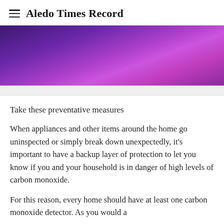Aledo Times Record
[Figure (illustration): Purple gradient banner image with transition from dark indigo/purple on the left to bright magenta/purple on the right]
Take these preventative measures
When appliances and other items around the home go uninspected or simply break down unexpectedly, it's important to have a backup layer of protection to let you know if you and your household is in danger of high levels of carbon monoxide.
For this reason, every home should have at least one carbon monoxide detector. As you would a